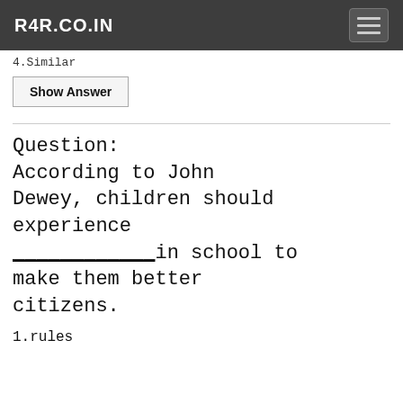R4R.CO.IN
4.Similar
Show Answer
Question: According to John Dewey, children should experience ____________in school to make them better citizens.
1.rules